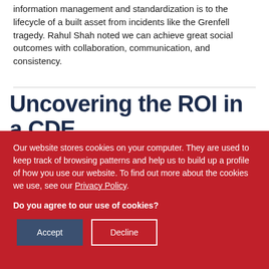information management and standardization is to the lifecycle of a built asset from incidents like the Grenfell tragedy. Rahul Shah noted we can achieve great social outcomes with collaboration, communication, and consistency.
Uncovering the ROI in a CDE
Our website stores cookies on your computer. They are used to keep track of browsing patterns and help us to build up a profile of how you use our website. To find out more about the cookies we use, see our Privacy Policy.

Do you agree to our use of cookies?